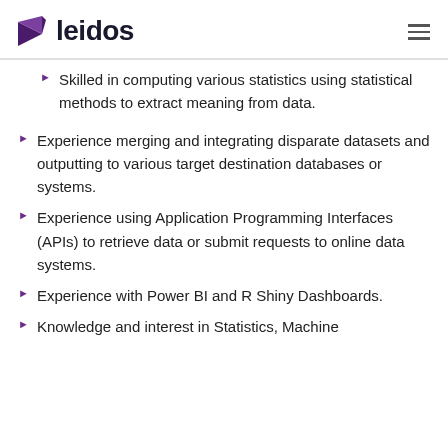leidos
Skilled in computing various statistics using statistical methods to extract meaning from data.
Experience merging and integrating disparate datasets and outputting to various target destination databases or systems.
Experience using Application Programming Interfaces (APIs) to retrieve data or submit requests to online data systems.
Experience with Power BI and R Shiny Dashboards.
Knowledge and interest in Statistics, Machine